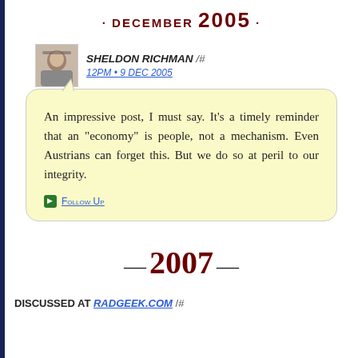· DECEMBER 2005 ·
SHELDON RICHMAN /#
12PM • 9 DEC 2005
An impressive post, I must say. It's a timely reminder that an "economy" is people, not a mechanism. Even Austrians can forget this. But we do so at peril to our integrity.
Follow Up
— 2007 —
DISCUSSED AT RADGEEK.COM /#